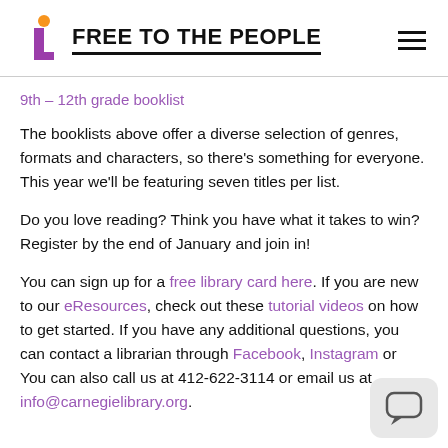FREE TO THE PEOPLE
9th – 12th grade booklist
The booklists above offer a diverse selection of genres, formats and characters, so there's something for everyone. This year we'll be featuring seven titles per list.
Do you love reading? Think you have what it takes to win? Register by the end of January and join in!
You can sign up for a free library card here. If you are new to our eResources, check out these tutorial videos on how to get started. If you have any additional questions, you can contact a librarian through Facebook, Instagram or You can also call us at 412-622-3114 or email us at info@carnegielibrary.org.